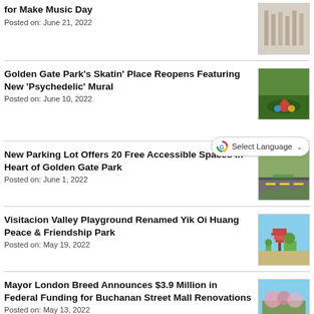for Make Music Day
Posted on: June 21, 2022
Golden Gate Park's Skatin' Place Reopens Featuring New 'Psychedelic' Mural
Posted on: June 10, 2022
New Parking Lot Offers 20 Free Accessible Spaces in Heart of Golden Gate Park
Posted on: June 1, 2022
Visitacion Valley Playground Renamed Yik Oi Huang Peace & Friendship Park
Posted on: May 19, 2022
Mayor London Breed Announces $3.9 Million in Federal Funding for Buchanan Street Mall Renovations
Posted on: May 13, 2022